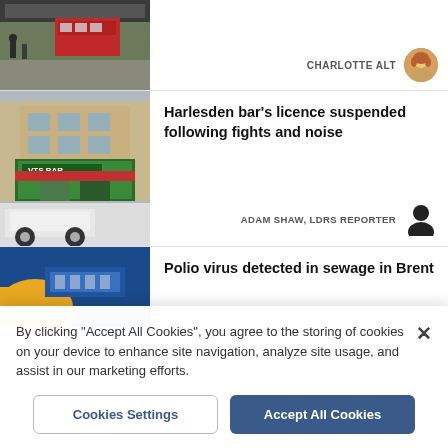[Figure (photo): Partial thumbnail of a street scene with a red double-decker bus under a railway bridge]
CHARLOTTE ALT
[Figure (photo): Photo of a bar/shop front on a high street - Harlesden]
Harlesden bar's licence suspended following fights and noise
ADAM SHAW, LDRS REPORTER
[Figure (photo): Partial photo - hand holding something blue, related to polio virus detection]
Polio virus detected in sewage in Brent
By clicking "Accept All Cookies", you agree to the storing of cookies on your device to enhance site navigation, analyze site usage, and assist in our marketing efforts.
Cookies Settings
Accept All Cookies